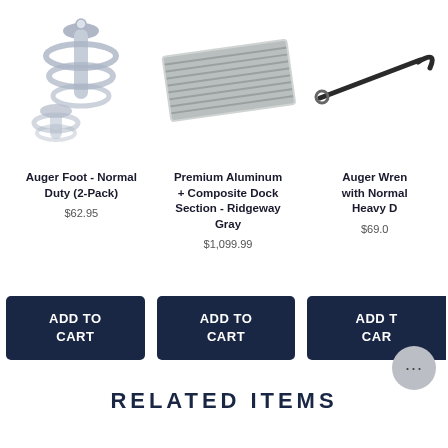[Figure (photo): Auger Foot product photo - spiral auger foot hardware, two pieces, gray metallic]
[Figure (photo): Premium Aluminum + Composite Dock Section product photo - flat rectangular dock panel in gray]
[Figure (photo): Auger Wrench product photo - long wrench tool with hook end, partially visible]
Auger Foot - Normal Duty (2-Pack)
Premium Aluminum + Composite Dock Section - Ridgeway Gray
Auger Wren with Normal Heavy D
$62.95
$1,099.99
$69.0
ADD TO CART
ADD TO CART
ADD TO CART
RELATED ITEMS